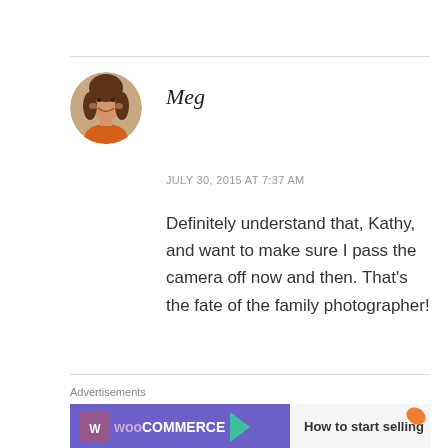[Figure (photo): Circular avatar photo of a woman with brown hair smiling, outdoors background]
Meg
JULY 30, 2015 AT 7:37 AM
Definitely understand that, Kathy, and want to make sure I pass the camera off now and then. That’s the fate of the family photographer!
★ Like
Advertisements
[Figure (screenshot): WooCommerce advertisement banner showing logo and text 'How to start selling']